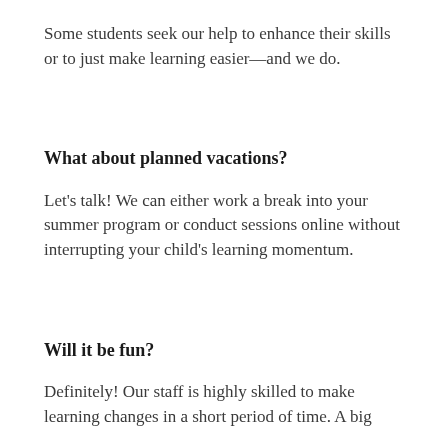Some students seek our help to enhance their skills or to just make learning easier—and we do.
What about planned vacations?
Let's talk! We can either work a break into your summer program or conduct sessions online without interrupting your child's learning momentum.
Will it be fun?
Definitely! Our staff is highly skilled to make learning changes in a short period of time. A big